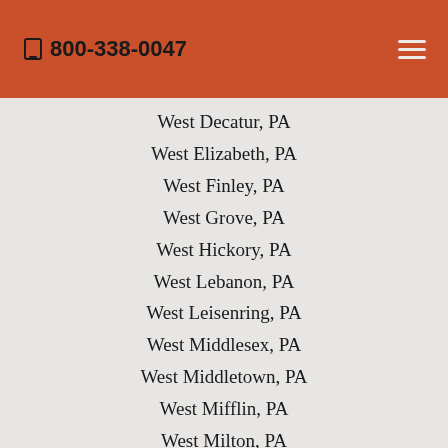800-338-0047
West Decatur, PA
West Elizabeth, PA
West Finley, PA
West Grove, PA
West Hickory, PA
West Lebanon, PA
West Leisenring, PA
West Middlesex, PA
West Middletown, PA
West Mifflin, PA
West Milton, PA
West Newton, PA
West Pittsburg, PA
West Point, PA
West Salisbury, PA
West Springfield, PA
West Sunbury, PA